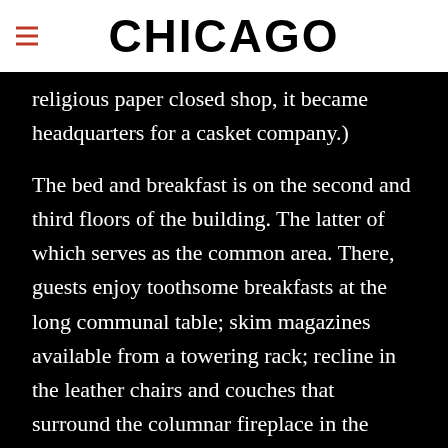CHICAGO
religious paper closed shop, it became headquarters for a casket company.)
The bed and breakfast is on the second and third floors of the building. The latter of which serves as the common area. There, guests enjoy toothsome breakfasts at the long communal table; skim magazines available from a towering rack; recline in the leather chairs and couches that surround the columnar fireplace in the center of the space; chat with the chef pulling fresh-baked pastries from the oven; puzzle over the puzzle on the grand piano; and, of course,